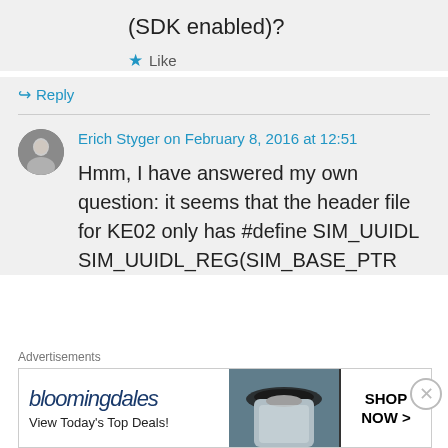(SDK enabled)?
★ Like
↳ Reply
Erich Styger on February 8, 2016 at 12:51
Hmm, I have answered my own question: it seems that the header file for KE02 only has #define SIM_UUIDL SIM_UUIDL_REG(SIM_BASE_PTR
Advertisements
[Figure (screenshot): Bloomingdale's advertisement banner: logo, 'View Today's Top Deals!', woman with hat, SHOP NOW button]